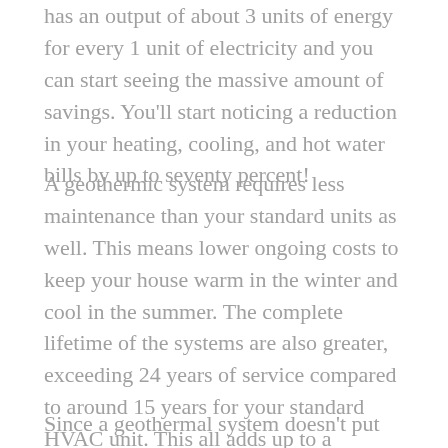has an output of about 3 units of energy for every 1 unit of electricity and you can start seeing the massive amount of savings. You'll start noticing a reduction in your heating, cooling, and hot water bills by up to seventy percent!
A geothermic system requires less maintenance than your standard units as well. This means lower ongoing costs to keep your house warm in the winter and cool in the summer. The complete lifetime of the systems are also greater, exceeding 24 years of service compared to around 15 years for your standard HVAC unit. This all adds up to a massive amount of savings over the years.
Since a geothermal system doesn't put out any